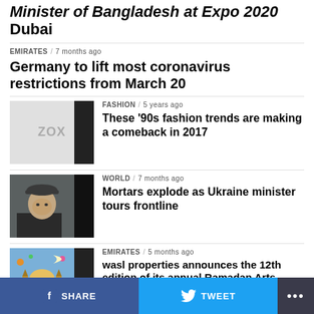Minister of Bangladesh at Expo 2020 Dubai
EMIRATES / 7 months ago
Germany to lift most coronavirus restrictions from March 20
[Figure (photo): ZOX placeholder image thumbnail with black right bar]
FASHION / 5 years ago
These '90s fashion trends are making a comeback in 2017
[Figure (photo): Man in dark cap and jacket, Ukraine war related image]
WORLD / 7 months ago
Mortars explode as Ukraine minister tours frontline
[Figure (illustration): Colorful Ramadan illustration with mosque and decorations]
EMIRATES / 5 months ago
wasl properties announces the 12th edition of its annual Ramadan Arts Competition
SHARE   TWEET   ...